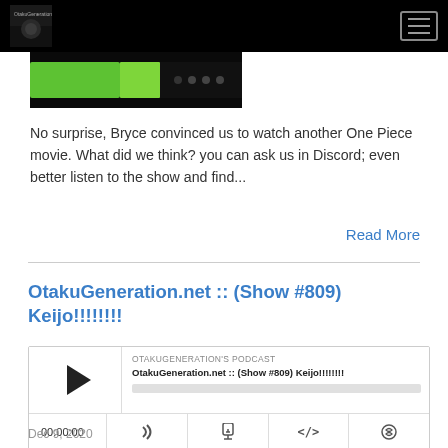OtakuGeneration.net navigation bar
[Figure (screenshot): Thumbnail image showing green glowing light and dark background]
No surprise, Bryce convinced us to watch another One Piece movie. What did we think? you can ask us in Discord; even better listen to the show and find...
Read More
OtakuGeneration.net :: (Show #809) Keijo!!!!!!!!
[Figure (screenshot): Podcast player widget showing OtakuGeneration's Podcast, episode OtakuGeneration.net :: (Show #809) Keijo!!!!!!!!, time 00:00:00, with play button and controls]
Dec 9, 2020